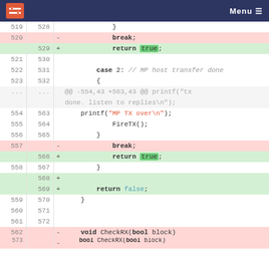Menu
Code diff showing changes to break/return statements in C++ source file, lines 519-573